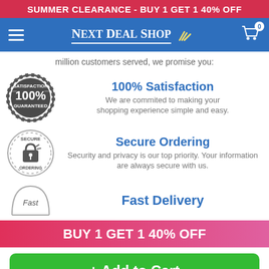SUMMER CLEARANCE - BUY 1 GET 1 40% OFF
[Figure (logo): Next Deal Shop navigation bar with hamburger menu, logo, and cart icon showing 0 items]
million customers served, we promise you:
[Figure (illustration): 100% Satisfaction Guaranteed circular badge (dark grey stamp style)]
100% Satisfaction
We are commited to making your shopping experience simple and easy.
[Figure (illustration): Secure Ordering circular badge with padlock icon]
Secure Ordering
Security and privacy is our top priority. Your information are always secure with us.
[Figure (illustration): Fast delivery badge (circular stamp style)]
Fast Delivery
BUY 1 GET 1 40% OFF
+ Add to Cart
60-DAY